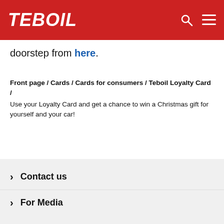TEBOIL
doorstep from here.
Front page / Cards / Cards for consumers / Teboil Loyalty Card / Use your Loyalty Card and get a chance to win a Christmas gift for yourself and your car!
Contact us
For Media